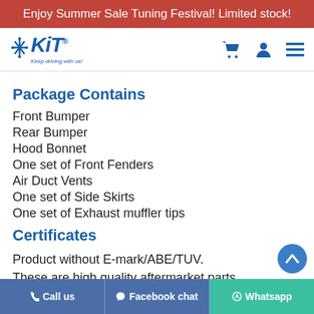Enjoy Summer Sale Tuning Festival! Limited stock!
[Figure (logo): KiT logo with snowflake, 'Keep driving with us!' tagline, cart icon, user icon, hamburger menu icon]
Package Contains
Front Bumper
Rear Bumper
Hood Bonnet
One set of Front Fenders
Air Duct Vents
One set of Side Skirts
One set of Exhaust muffler tips
Certificates
Product without E-mark/ABE/TUV.
These are high quality aftermarket parts.
Call us | Facebook chat | Whatsapp